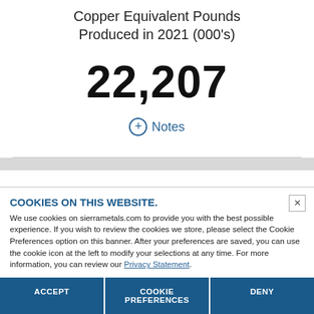Copper Equivalent Pounds Produced in 2021 (000's)
22,207
+ Notes
COOKIES ON THIS WEBSITE.
We use cookies on sierrametals.com to provide you with the best possible experience. If you wish to review the cookies we store, please select the Cookie Preferences option on this banner. After your preferences are saved, you can use the cookie icon at the left to modify your selections at any time. For more information, you can review our Privacy Statement.
ACCEPT
COOKIE PREFERENCES
DENY